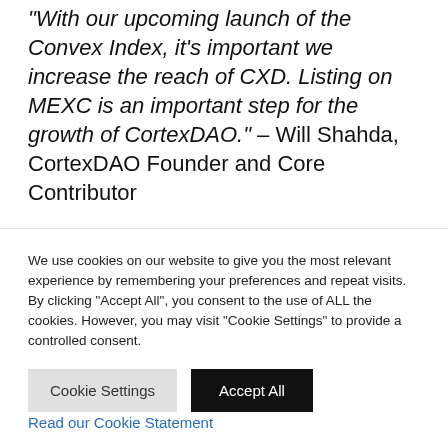“With our upcoming launch of the Convex Index, it’s important we increase the reach of CXD. Listing on MEXC is an important step for the growth of CortexDAO.” – Will Shahda, CortexDAO Founder and Core Contributor
The MEXC listing is CortexDAO’s first centralized exchange listing. Previously, CXD was only available on the decentralized
We use cookies on our website to give you the most relevant experience by remembering your preferences and repeat visits. By clicking “Accept All”, you consent to the use of ALL the cookies. However, you may visit "Cookie Settings" to provide a controlled consent.
Read our Cookie Statement